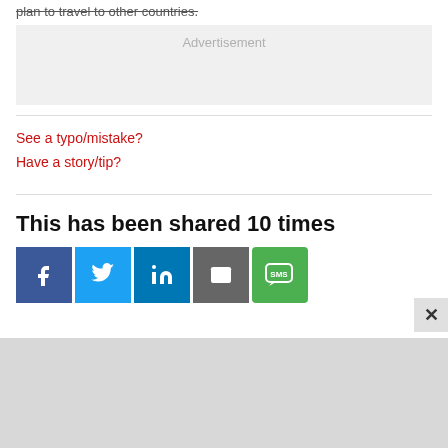plan to travel to other countries.
[Figure (other): Advertisement placeholder box with light gray background]
See a typo/mistake?
Have a story/tip?
This has been shared 10 times
[Figure (infographic): Social share buttons: Facebook (blue), Twitter (light blue), LinkedIn (dark blue), Email (gray), SMS (green)]